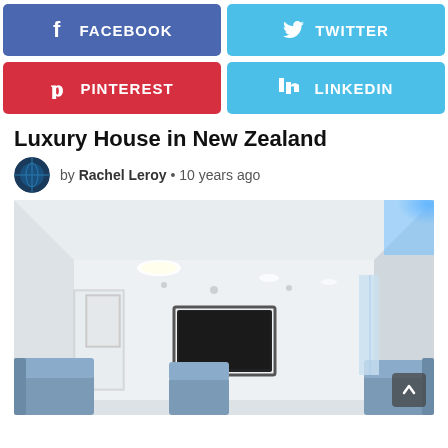[Figure (infographic): Social media share buttons: Facebook (blue-purple), Twitter (light blue), Pinterest (red), LinkedIn (light blue)]
Luxury House in New Zealand
by Rachel Leroy • 10 years ago
[Figure (photo): Interior of a modern luxury house with white walls, recessed ceiling lights with one large circular light, a flat-screen TV mounted on the wall, and blue sofa chairs. Blue LED lighting in upper right corner.]